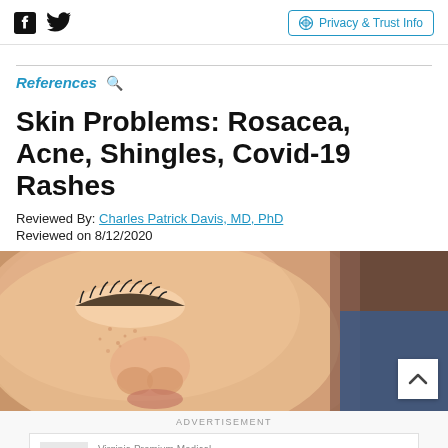Facebook Twitter | Privacy & Trust Info
References
Skin Problems: Rosacea, Acne, Shingles, Covid-19 Rashes
Reviewed By: Charles Patrick Davis, MD, PhD
Reviewed on 8/12/2020
[Figure (photo): Close-up photograph of skin showing rosacea or skin condition on a person's face near the eye and nose area, with another person partially visible in the background.]
ADVERTISEMENT Virginia Premium Medical... Virginia Premium Medical Care Open